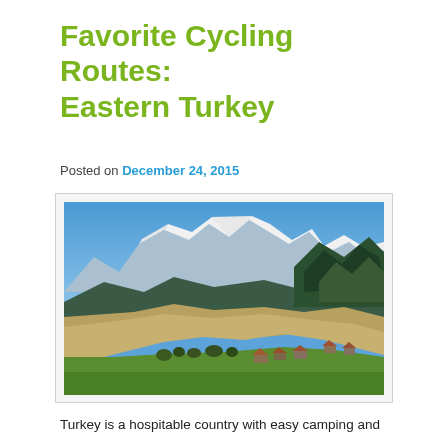Favorite Cycling Routes: Eastern Turkey
Posted on December 24, 2015
[Figure (photo): Landscape photograph showing a rolling hillside with green meadows and scattered small rural buildings in the foreground, dense coniferous forest on the right, and a dramatic range of snow-capped mountains under a clear blue sky in the background.]
Turkey is a hospitable country with easy camping and